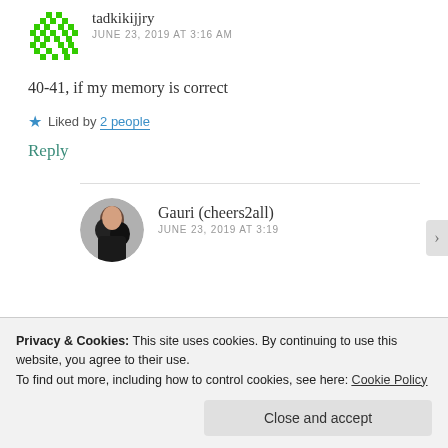tadkikijjry
JUNE 23, 2019 AT 3:16 AM
40-41, if my memory is correct
Liked by 2 people
Reply
Gauri (cheers2all)
JUNE 23, 2019 AT 3:19
Privacy & Cookies: This site uses cookies. By continuing to use this website, you agree to their use.
To find out more, including how to control cookies, see here: Cookie Policy
Close and accept